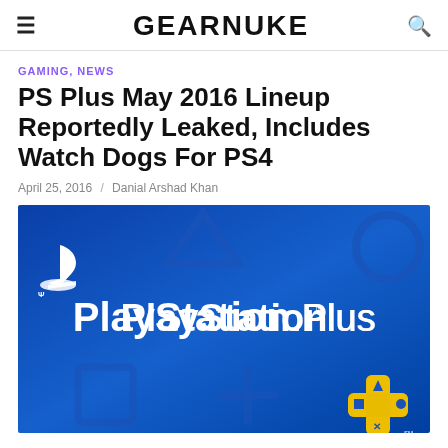GEARNUKE
GAMING, NEWS
PS Plus May 2016 Lineup Reportedly Leaked, Includes Watch Dogs For PS4
April 25, 2016 / Danial Arshad Khan
[Figure (photo): PlayStation Plus promotional banner with blue background featuring PlayStation symbols and the PlayStation Plus logo with a golden plus icon in the corner]